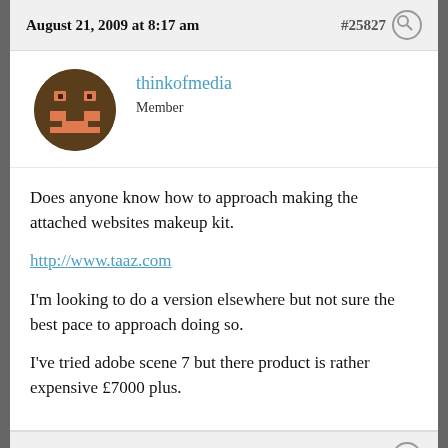August 21, 2009 at 8:17 am    #25827
[Figure (illustration): Circular brown avatar with pixel-art face in salmon/orange color — thinkofmedia user avatar]
thinkofmedia
Member
Does anyone know how to approach making the attached websites makeup kit.
http://www.taaz.com

I'm looking to do a version elsewhere but not sure the best pace to approach doing so.

I've tried adobe scene 7 but there product is rather expensive £7000 plus.
August 21, 2009 at 11:48 am    #62524